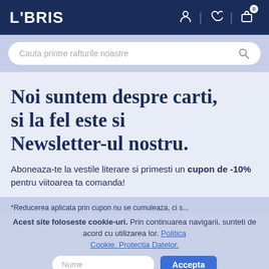LIBRIS
Cauta printre rafturile noastre
Noi suntem despre carti, si la fel este si Newsletter-ul nostru.
Aboneaza-te la vestile literare si primesti un cupon de -10% pentru viitoarea ta comanda!
*Reducerea aplicata prin cupon nu se cumuleaza, ci s...
Acest site foloseste cookie-uri. Prin continuarea navigarii, sunteti de acord cu utilizarea lor. Politica Cookie. Protectia Datelor.